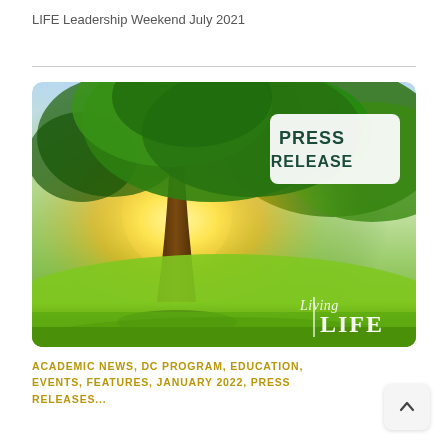LIFE Leadership Weekend July 2021
[Figure (photo): A sunlit tree in a green meadow with bright sunlight shining through the branches. A white rounded rectangle badge in the upper right reads 'PRESS RELEASE' in dark teal bold text. A white script/serif 'Living LIFE' logo appears in the lower right corner.]
ACADEMIC NEWS, DC PROGRAM, EDUCATION, EVENTS, FEATURES, JANUARY 2022, PRESS RELEASES...